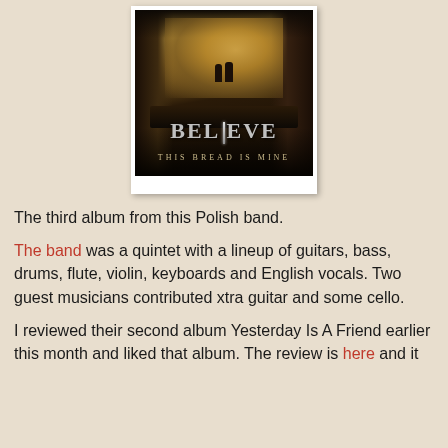[Figure (illustration): Album cover for 'Believe – This Bread Is Mine' showing a dark canyon scene with two silhouetted figures on a platform, golden/brown tones, with the album title 'BELIEVE' in large silver metallic letters and 'THIS BREAD IS MINE' below in smaller text.]
The third album from this Polish band.
The band was a quintet with a lineup of guitars, bass, drums, flute, violin, keyboards and English vocals. Two guest musicians contributed xtra guitar and some cello.
I reviewed their second album Yesterday Is A Friend earlier this month and liked that album. The review is here and it